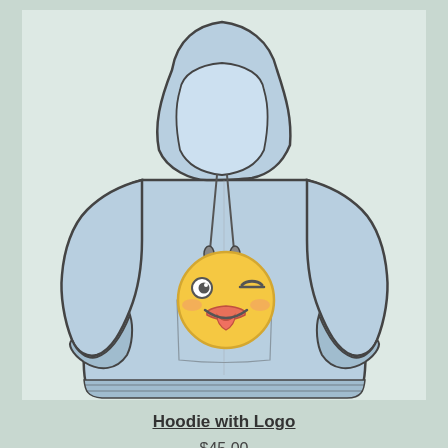[Figure (illustration): Illustrated light blue hoodie sweatshirt with a winking tongue-out emoji face graphic on the chest, drawn in a sketch/cartoon style with dark outlines on a light grayish-green background panel.]
Hoodie with Logo
$45.00